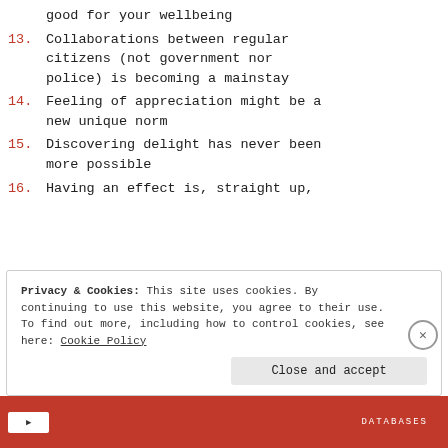good for your wellbeing
13. Collaborations between regular citizens (not government nor police) is becoming a mainstay
14. Feeling of appreciation might be a new unique norm
15. Discovering delight has never been more possible
16. Having an effect is, straight up,
Privacy & Cookies: This site uses cookies. By continuing to use this website, you agree to their use. To find out more, including how to control cookies, see here: Cookie Policy
Close and accept